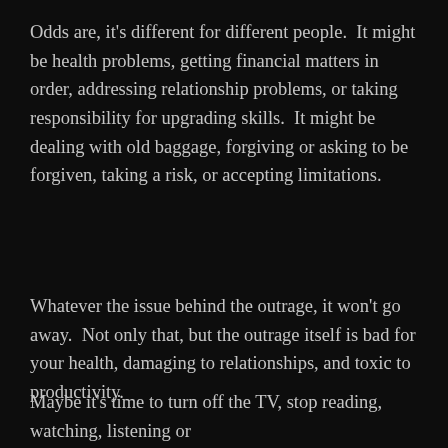Odds are, it's different for different people.  It might be health problems, getting financial matters in order, addressing relationship problems, or taking responsibility for upgrading skills.  It might be dealing with old baggage, forgiving or asking to be forgiven, taking a risk, or accepting limitations.
Whatever the issue behind the outrage, it won't go away.  Not only that, but the outrage itself is bad for your health, damaging to relationships, and toxic to productivity.
Maybe it's time to turn off the TV, stop reading, watching, listening or